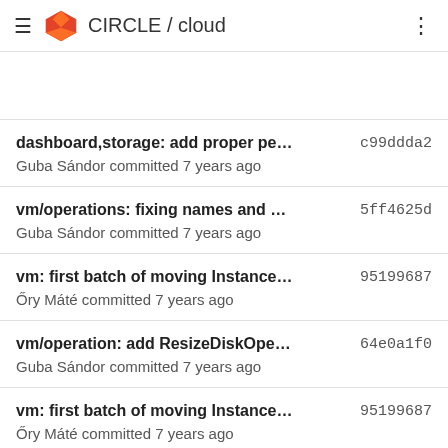CIRCLE / cloud
dashboard,storage: add proper permission
Guba Sándor committed 7 years ago
c99ddda2
vm/operations: fixing names and queue_na...
Guba Sándor committed 7 years ago
5ff4625d
vm: first batch of moving Instance method...
Őry Máté committed 7 years ago
95199687
vm/operation: add ResizeDiskOperation
Guba Sándor committed 7 years ago
64e0a1f0
vm: first batch of moving Instance method...
Őry Máté committed 7 years ago
95199687
vm/operation: add ResizeDiskOperation
Guba Sándor committed 7 years ago
64e0a1f0